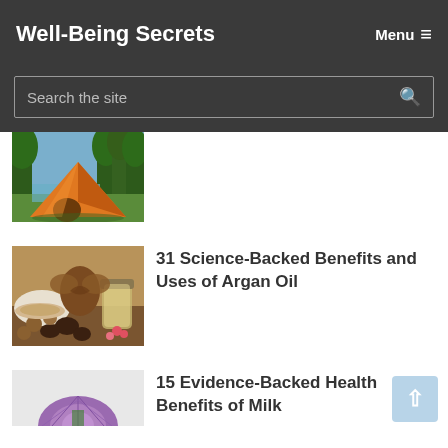Well-Being Secrets  Menu ≡
Search the site
[Figure (photo): Orange camping tent by a lake with trees in the background]
[Figure (photo): Argan oil ingredients: argan nuts, seeds, decorative dish, jar of oil, and a wooden carved butterfly]
31 Science-Backed Benefits and Uses of Argan Oil
[Figure (photo): Milk thistle flower, partially visible at the bottom]
15 Evidence-Backed Health Benefits of Milk